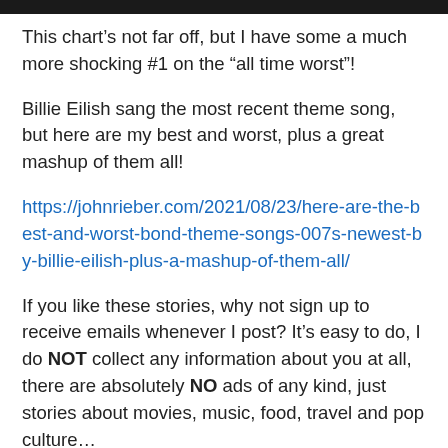This chart’s not far off, but I have some a much more shocking #1 on the “all time worst”!
Billie Eilish sang the most recent theme song, but here are my best and worst, plus a great mashup of them all!
https://johnrieber.com/2021/08/23/here-are-the-best-and-worst-bond-theme-songs-007s-newest-by-billie-eilish-plus-a-mashup-of-them-all/
If you like these stories, why not sign up to receive emails whenever I post? It’s easy to do, I do NOT collect any information about you at all, there are absolutely NO ads of any kind, just stories about movies, music, food, travel and pop culture…
You can sign up by clicking on my blog here and see the